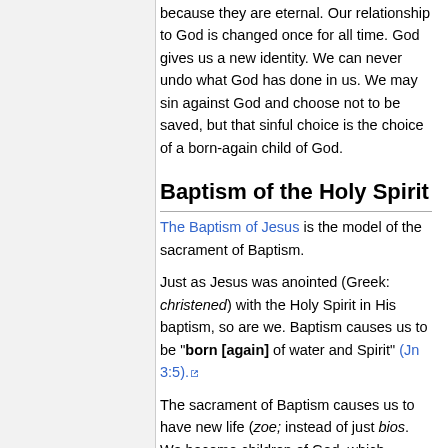because they are eternal. Our relationship to God is changed once for all time. God gives us a new identity. We can never undo what God has done in us. We may sin against God and choose not to be saved, but that sinful choice is the choice of a born-again child of God.
Baptism of the Holy Spirit
The Baptism of Jesus is the model of the sacrament of Baptism.
Just as Jesus was anointed (Greek: christened) with the Holy Spirit in His baptism, so are we. Baptism causes us to be "born [again] of water and Spirit" (Jn 3:5).
The sacrament of Baptism causes us to have new life (zoe; instead of just bios. We become children of God, which